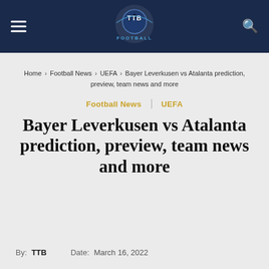TTB Football
Home › Football News › UEFA › Bayer Leverkusen vs Atalanta prediction, preview, team news and more
Football News | UEFA
Bayer Leverkusen vs Atalanta prediction, preview, team news and more
By: TTB   Date: March 16, 2022